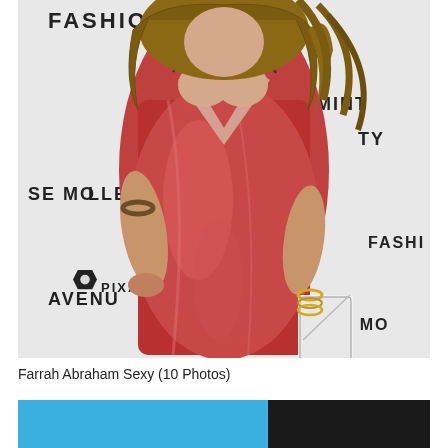[Figure (photo): A woman wearing a red metallic satin deep-V dress posing at a fashion event. In the background is a step-and-repeat banner with text including FASHION, SE MOELLER, AVENUE, PIXAR, MINTY, TY, SE MO, FASHI. She holds a white clutch purse and wears gold bracelets.]
Farrah Abraham Sexy (10 Photos)
[Figure (photo): Partial view of a second photo with a blue background, partially visible at the bottom of the page.]